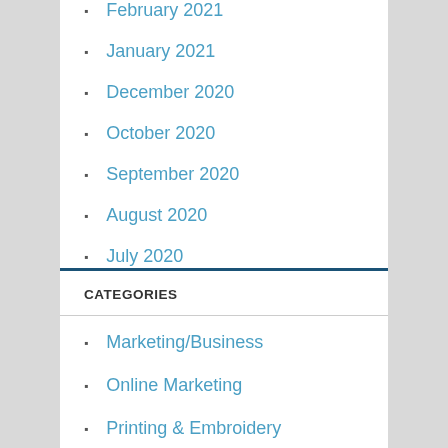February 2021
January 2021
December 2020
October 2020
September 2020
August 2020
July 2020
June 2020
CATEGORIES
Marketing/Business
Online Marketing
Printing & Embroidery
Printing & Graphic Design